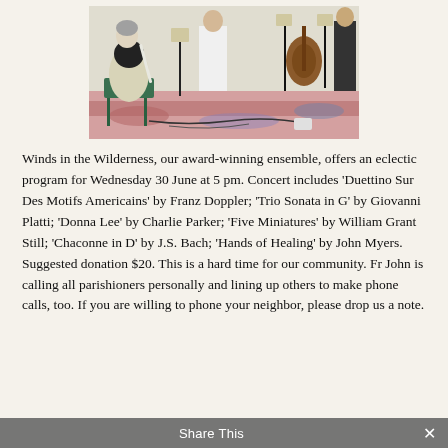[Figure (photo): Musicians playing instruments including flute, violin, and guitar in a casual indoor setting on a colorful rug, with music stands visible.]
Winds in the Wilderness, our award-winning ensemble, offers an eclectic program for Wednesday 30 June at 5 pm. Concert includes ‘Duettino Sur Des Motifs Americains’ by Franz Doppler; ‘Trio Sonata in G’ by Giovanni Platti; ‘Donna Lee’ by Charlie Parker; ‘Five Miniatures’ by William Grant Still; ‘Chaconne in D’ by J.S. Bach; ‘Hands of Healing’ by John Myers. Suggested donation $20. This is a hard time for our community. Fr John is calling all parishioners personally and lining up others to make phone calls, too. If you are willing to phone your neighbor, please drop us a note.
Share This